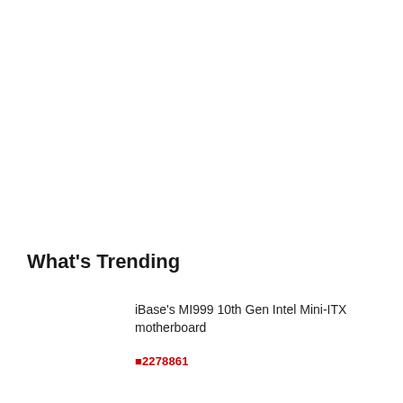What's Trending
iBase's MI999 10th Gen Intel Mini-ITX motherboard
🔴2278861